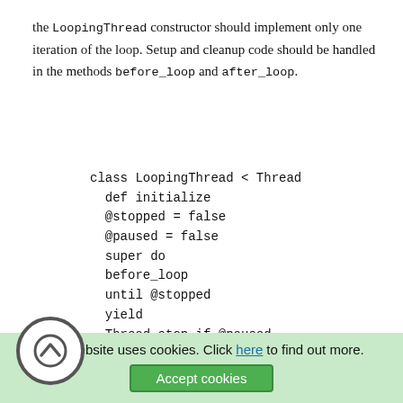the LoopingThread constructor should implement only one iteration of the loop. Setup and cleanup code should be handled in the methods before_loop and after_loop.
[Figure (screenshot): Ruby code block showing LoopingThread class definition with initialize method, @stopped and @paused instance variables, super do block, before_loop, until @stopped loop with yield and Thread.stop if @paused, after_loop, and end statements.]
This website uses cookies. Click here to find out more. Accept cookies